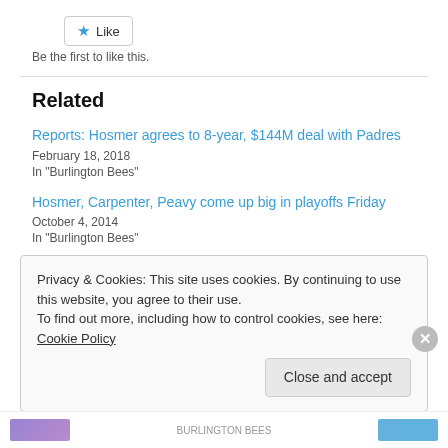[Figure (other): Like button with star icon]
Be the first to like this.
Related
Reports: Hosmer agrees to 8-year, $144M deal with Padres
February 18, 2018
In "Burlington Bees"
Hosmer, Carpenter, Peavy come up big in playoffs Friday
October 4, 2014
In "Burlington Bees"
Privacy & Cookies: This site uses cookies. By continuing to use this website, you agree to their use.
To find out more, including how to control cookies, see here: Cookie Policy
Close and accept